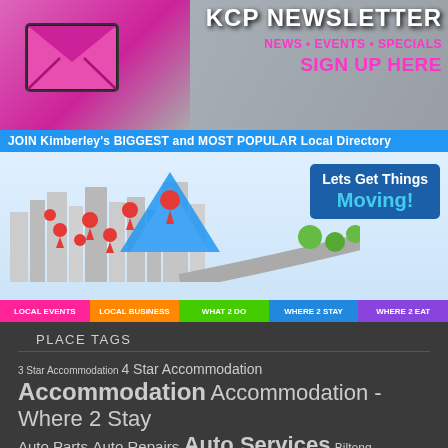[Figure (infographic): KCP Newsletter banner with pink envelope icon on keyboard, text: KCP NEWSLETTER, NEWS • EVENTS • SPECIALS, SIGN UP HERE]
[Figure (infographic): Join Kimberley's BIGGEST and MOST POPULAR Local Directory banner with city map graphic, blue arrow, red location pins, 'Lets Get Things Moving!' text, and navigation bar: LOCAL EVENTS, LOCAL BUSINESS, WHAT 2 DO, WHERE 2 STAY, WHERE 2 EAT]
PLACE TAGS
3 Star Accommodation 4 Star Accommodation Accommodation Accommodation - Where 2 Stay Auto Parts Auto Repairs Auto Services Biltong Building Supplies CBD DO NOT USE CCTV Church Clothing Di...